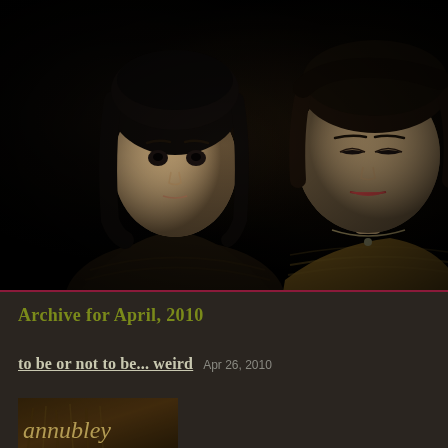[Figure (photo): Dark-background portrait photo of two ball-jointed dolls (BJD). Left doll has long black hair, pale skin, wearing a dark knitted sweater, facing forward. Right doll has shorter dark brown hair, pale skin with red lips, wearing a golden-brown knitted sweater with a necklace, eyes closed or nearly closed. Dramatic low-key lighting against black background.]
Archive for April, 2010
to be or not to be... weird
Apr 26, 2010
[Figure (photo): Partial thumbnail of a blog post image showing blurred warm-toned background with italic handwritten-style text 'annubley' partially visible]